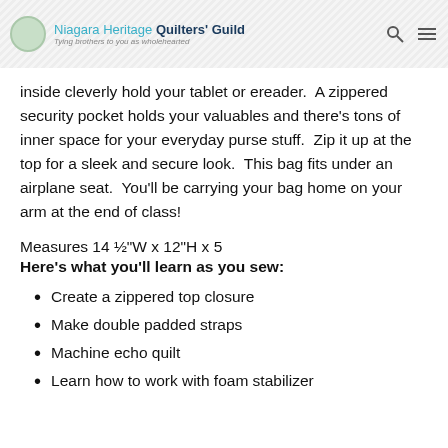Niagara Heritage Quilters' Guild
inside cleverly hold your tablet or ereader.  A zippered security pocket holds your valuables and there's tons of inner space for your everyday purse stuff.  Zip it up at the top for a sleek and secure look.  This bag fits under an airplane seat.  You'll be carrying your bag home on your arm at the end of class!
Measures 14 ½"W x 12"H x 5
Here's what you'll learn as you sew:
Create a zippered top closure
Make double padded straps
Machine echo quilt
Learn how to work with foam stabilizer